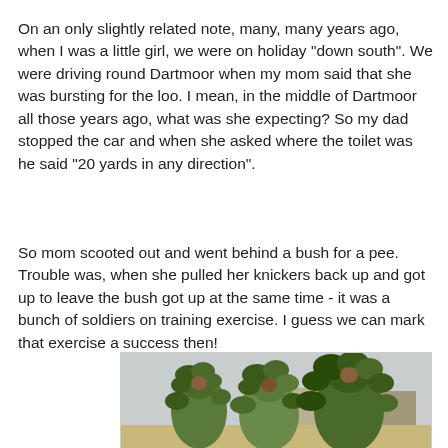On an only slightly related note, many, many years ago, when I was a little girl, we were on holiday "down south". We were driving round Dartmoor when my mom said that she was bursting for the loo. I mean, in the middle of Dartmoor all those years ago, what was she expecting? So my dad stopped the car and when she asked where the toilet was he said "20 yards in any direction".
So mom scooted out and went behind a bush for a pee. Trouble was, when she pulled her knickers back up and got up to leave the bush got up at the same time - it was a bunch of soldiers on training exercise. I guess we can mark that exercise a success then!
[Figure (photo): Soldiers in camouflage gear with heavy foliage/ghillie suits standing in an open area, with buildings visible in the background.]